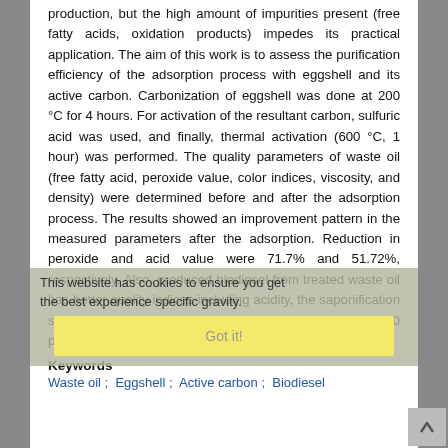production, but the high amount of impurities present (free fatty acids, oxidation products) impedes its practical application. The aim of this work is to assess the purification efficiency of the adsorption process with eggshell and its active carbon. Carbonization of eggshell was done at 200 °C for 4 hours. For activation of the resultant carbon, sulfuric acid was used, and finally, thermal activation (600 °C, 1 hour) was performed. The quality parameters of waste oil (free fatty acid, peroxide value, color indices, viscosity, and density) were determined before and after the adsorption process. The results showed an improvement pattern in the measured parameters after the adsorption. Reduction in peroxide and acid value were 71.7% and 51.72%, respectively. Also, produced biodiesel from treated waste oil has better quality indices including acidity, the saponification gravity. Biodiesel yield also increased up to 40 percent.
This website has cookies to ensure you get the best experience specific gravity.
Got it!
Keywords
Waste oil ; Eggshell ; Active carbon ; Biodiesel